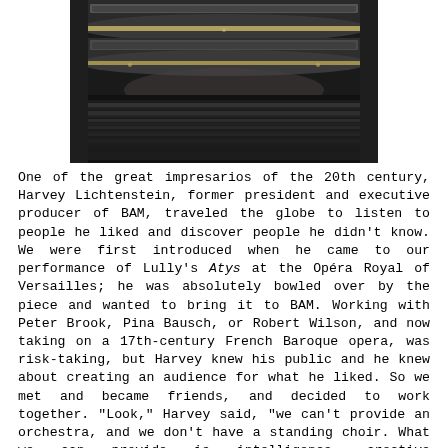[Figure (photo): Black and white photograph of a grand opera house or concert hall interior, showing multiple tiers of ornate balconies packed with audience members, and a crowded floor level, viewed from the stage perspective.]
One of the great impresarios of the 20th century, Harvey Lichtenstein, former president and executive producer of BAM, traveled the globe to listen to people he liked and discover people he didn't know. We were first introduced when he came to our performance of Lully's Atys at the Opéra Royal of Versailles; he was absolutely bowled over by the piece and wanted to bring it to BAM. Working with Peter Brook, Pina Bausch, or Robert Wilson, and now taking on a 17th-century French Baroque opera, was risk-taking, but Harvey knew his public and he knew about creating an audience for what he liked. So we met and became friends, and decided to work together. "Look," Harvey said, "we can't provide an orchestra, and we don't have a standing choir. What we can provide is intelligence, creative programming, we can provide an audience